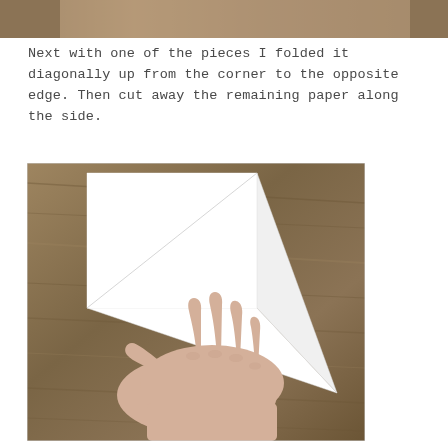[Figure (photo): Partial view of a photo at the top of the page, appears to show hands or a craft activity — cropped, only the bottom portion visible.]
Next with one of the pieces I folded it diagonally up from the corner to the opposite edge. Then cut away the remaining paper along the side.
[Figure (photo): A hand pressing down on a sheet of white paper that has been folded diagonally into a triangle/pennant shape, placed on a wooden surface table.]